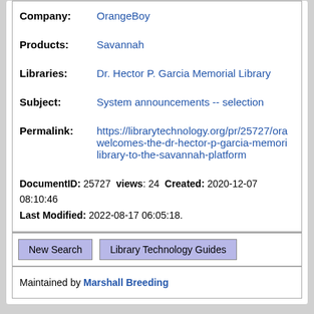Company: OrangeBoy
Products: Savannah
Libraries: Dr. Hector P. Garcia Memorial Library
Subject: System announcements -- selection
Permalink: https://librarytechnology.org/pr/25727/orangeboy-welcomes-the-dr-hector-p-garcia-memorial-library-to-the-savannah-platform
DocumentID: 25727 views: 24 Created: 2020-12-07 08:10:46 Last Modified: 2022-08-17 06:05:18.
New Search  Library Technology Guides
Maintained by Marshall Breeding